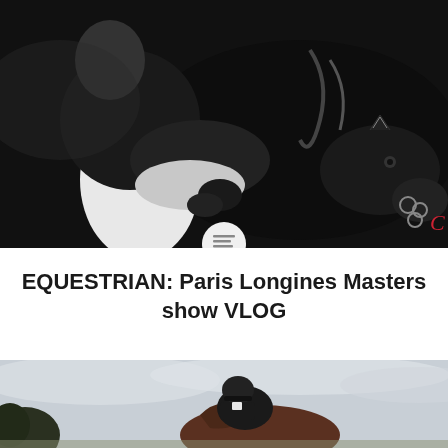[Figure (photo): Black and white close-up photograph of an equestrian rider in dark jacket and gloves on a black horse, show jumping scene indoors]
EQUESTRIAN: Paris Longines Masters show VLOG
[Figure (photo): Color photograph of an equestrian rider in black jacket on a horse jumping outdoors against an overcast sky]